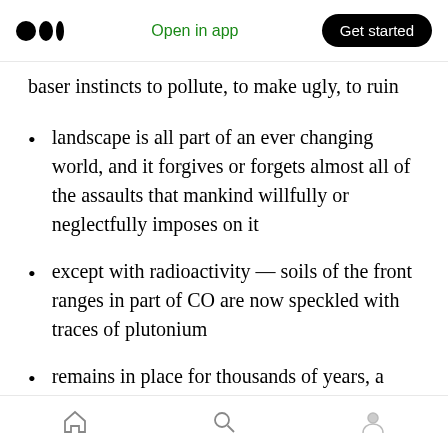Open in app | Get started
baser instincts to pollute, to make ugly, to ruin
landscape is all part of an ever changing world, and it forgives or forgets almost all of the assaults that mankind willfully or neglectfully imposes on it
except with radioactivity — soils of the front ranges in part of CO are now speckled with traces of plutonium
remains in place for thousands of years, a near permanent stain on the planet, a
Home | Search | Profile